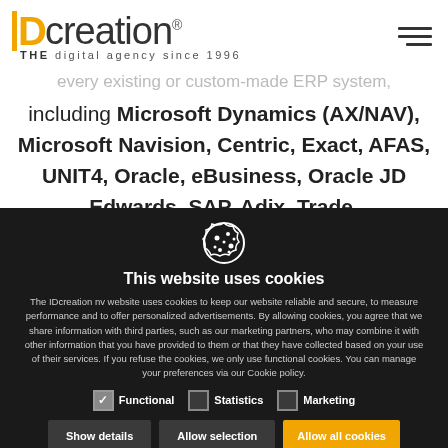IDcreation THE digital agency since 1996
every existing or custom-made ERP system, including Microsoft Dynamics (AX/NAV), Microsoft Navision, Centric, Exact, AFAS, UNIT4, Oracle, eBusiness, Oracle JD Edwards, SAP, Adix, Trade,
This website uses cookies
The IDcreation nv website uses cookies to keep our website reliable and secure, to measure performance and to offer personalized advertisements. By allowing cookies, you agree that we share information with third parties, such as our marketing partners, who may combine it with other information that you have provided to them or that they have collected based on your use of their services. If you refuse the cookies, we only use functional cookies. You can manage your preferences via our Cookie policy.
Functional (checked)
Statistics
Marketing
Show details | Allow selection | Allow all cookies